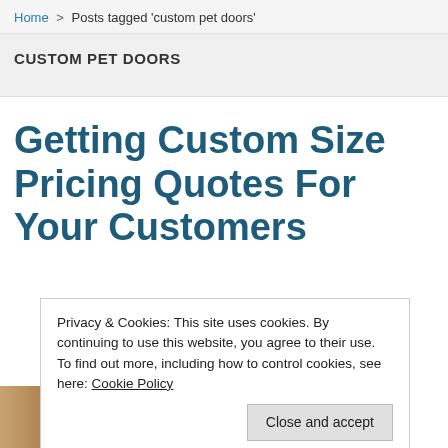Home > Posts tagged 'custom pet doors'
CUSTOM PET DOORS
Getting Custom Size Pricing Quotes For Your Customers
Privacy & Cookies: This site uses cookies. By continuing to use this website, you agree to their use.
To find out more, including how to control cookies, see here: Cookie Policy
Close and accept
[Figure (photo): Partial view of wooden pet door at bottom left of page]
rate Pet Door prices it self and customers